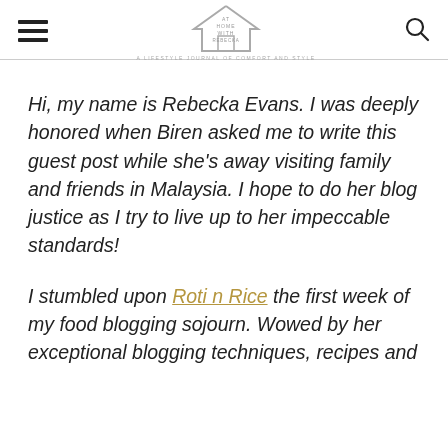At Home With Rebecka — a lifestyle journal of comfort and style
Hi, my name is Rebecka Evans. I was deeply honored when Biren asked me to write this guest post while she's away visiting family and friends in Malaysia. I hope to do her blog justice as I try to live up to her impeccable standards!
I stumbled upon Roti n Rice the first week of my food blogging sojourn. Wowed by her exceptional blogging techniques, recipes and